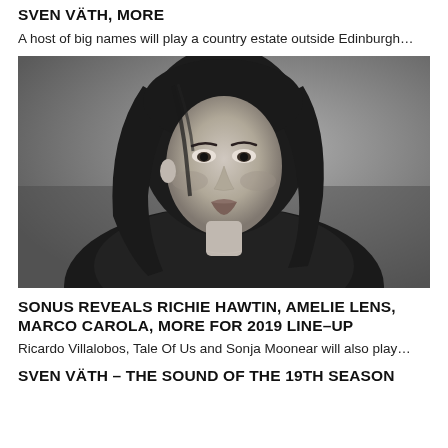SVEN VÄTH, MORE
A host of big names will play a country estate outside Edinburgh…
[Figure (photo): Black and white portrait photo of a young woman with long dark hair wearing a leather jacket, looking directly at the camera with a neutral expression against a grey background.]
SONUS REVEALS RICHIE HAWTIN, AMELIE LENS, MARCO CAROLA, MORE FOR 2019 LINE–UP
Ricardo Villalobos, Tale Of Us and Sonja Moonear will also play…
SVEN VÄTH – THE SOUND OF THE 19TH SEASON